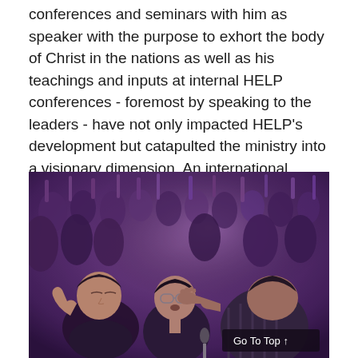conferences and seminars with him as speaker with the purpose to exhort the body of Christ in the nations as well as his teachings and inputs at internal HELP conferences - foremost by speaking to the leaders - have not only impacted HELP's development but catapulted the ministry into a visionary dimension. An international leadership is presently rising up that carries and furthers the mutual vision, aims and HELP's ministries - mentored and adviced by Walter Heidenreich.
[Figure (photo): A person laying hands on someone's forehead in prayer at what appears to be a large worship gathering or conference. The crowd in the background has hands raised. The image has a purple-pink tonal cast. A 'Go To Top' button overlay appears in the bottom right corner.]